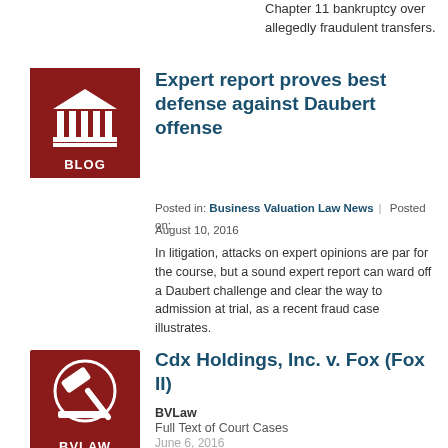Chapter 11 bankruptcy over allegedly fraudulent transfers.
[Figure (illustration): Dark red square icon with a white courthouse/columns illustration and BLOG label at bottom]
Expert report proves best defense against Daubert offense
Posted in: Business Valuation Law News | Posted on: August 10, 2016
In litigation, attacks on expert opinions are par for the course, but a sound expert report can ward off a Daubert challenge and clear the way to admission at trial, as a recent fraud case illustrates.
[Figure (illustration): Dark red square icon with a white gavel illustration and BVLAW label at bottom]
Cdx Holdings, Inc. v. Fox (Fox II)
BVLaw
Full Text of Court Cases
June 6, 2016
In medical company valuation case, high court affirms award to option holders based on deference owed to trial court's findings of historical fact.